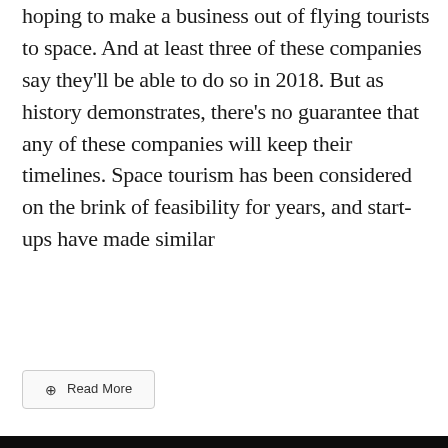hoping to make a business out of flying tourists to space. And at least three of these companies say they'll be able to do so in 2018. But as history demonstrates, there's no guarantee that any of these companies will keep their timelines. Space tourism has been considered on the brink of feasibility for years, and start-ups have made similar
⊕  Read More
[Figure (photo): Photograph of a moon or planetary surface terrain with rocky mountains silhouetted against a dark/black sky. A small white box overlay appears in the lower right corner of the image.]